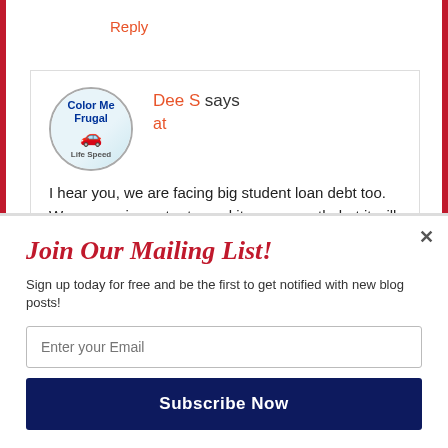Reply
Dee S says
at
I hear you, we are facing big student loan debt too. We are paying extra toward it every month, but it will still likely be years until ours is gone. I wish that sch...ore of an effort to educate students about educational debt befo...
Join Our Mailing List!
Sign up today for free and be the first to get notified with new blog posts!
Enter your Email
Subscribe Now